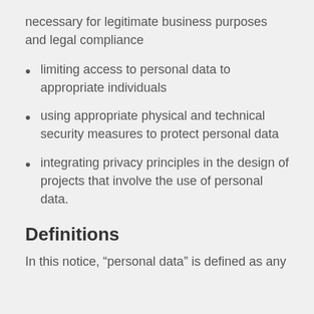necessary for legitimate business purposes and legal compliance
limiting access to personal data to appropriate individuals
using appropriate physical and technical security measures to protect personal data
integrating privacy principles in the design of projects that involve the use of personal data.
Definitions
In this notice, “personal data” is defined as any